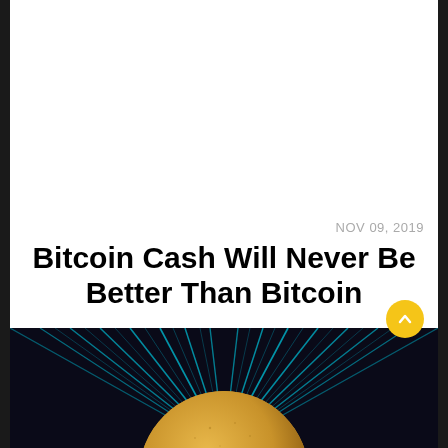NOV 09, 2019
Bitcoin Cash Will Never Be Better Than Bitcoin
🏷 BITCOIN, OPINION, SCAM   No comments   132 Total views
[Figure (illustration): Bitcoin coin with cyan light rays radiating outward on dark background]